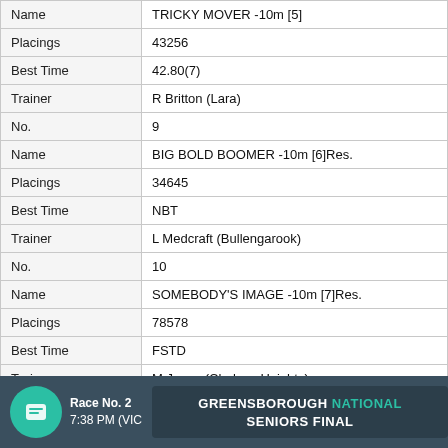| Field | Value |
| --- | --- |
| Name | TRICKY MOVER -10m [5] |
| Placings | 43256 |
| Best Time | 42.80(7) |
| Trainer | R Britton (Lara) |
| No. | 9 |
| Name | BIG BOLD BOOMER -10m [6]Res. |
| Placings | 34645 |
| Best Time | NBT |
| Trainer | L Medcraft (Bullengarook) |
| No. | 10 |
| Name | SOMEBODY'S IMAGE -10m [7]Res. |
| Placings | 78578 |
| Best Time | FSTD |
| Trainer | M Jones (Chelsea Heights) |
Race No. 2  7:38 PM (VIC)  GREENSBOROUGH NATIONAL SENIORS FINAL